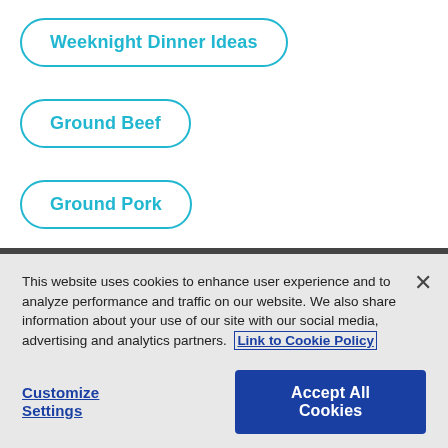Weeknight Dinner Ideas
Ground Beef
Ground Pork
This website uses cookies to enhance user experience and to analyze performance and traffic on our website. We also share information about your use of our site with our social media, advertising and analytics partners. Link to Cookie Policy
Customize Settings
Accept All Cookies